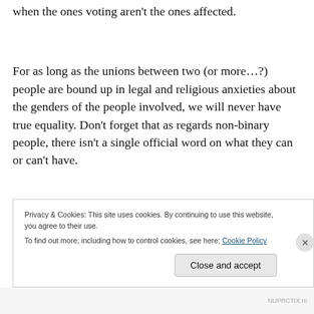Human rights shouldn't be put up for a vote, especially when the ones voting aren't the ones affected.
For as long as the unions between two (or more…?) people are bound up in legal and religious anxieties about the genders of the people involved, we will never have true equality. Don't forget that as regards non-binary people, there isn't a single official word on what they can or can't have.
Privacy & Cookies: This site uses cookies. By continuing to use this website, you agree to their use.
To find out more, including how to control cookies, see here: Cookie Policy
Close and accept